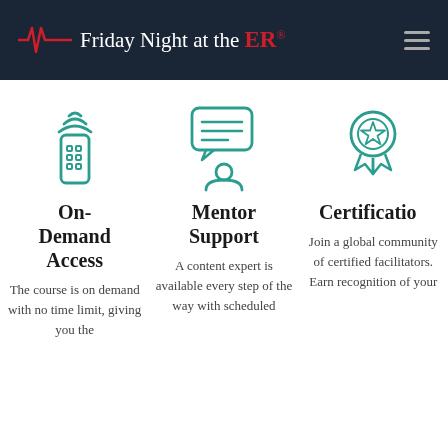Friday Night at the ER®
[Figure (illustration): Teal outline icon of a remote control with signal waves above it]
On-Demand Access
The course is on demand with no time limit, giving you the
[Figure (illustration): Teal outline icon of a person with a speech/chat bubble containing text lines]
Mentor Support
A content expert is available every step of the way with scheduled
[Figure (illustration): Teal outline icon of a ribbon/award badge with a star]
Certification
Join a global community of certified facilitators. Earn recognition of your